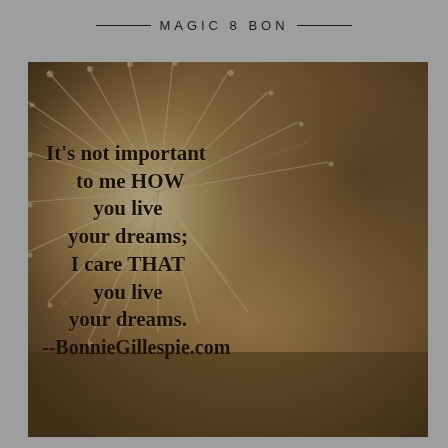MAGIC 8 BON
[Figure (photo): A blurred close-up photo of a dandelion or similar flower with radiating white fibers, with a brown/golden bokeh background. Overlaid with bold text quote about living dreams.]
It's not important to me HOW you live your dreams; I care THAT you live your dreams. --BonnieGillespie.com